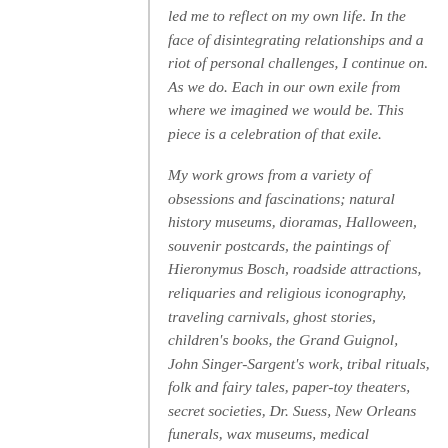led me to reflect on my own life. In the face of disintegrating relationships and a riot of personal challenges, I continue on. As we do. Each in our own exile from where we imagined we would be. This piece is a celebration of that exile.
My work grows from a variety of obsessions and fascinations; natural history museums, dioramas, Halloween, souvenir postcards, the paintings of Hieronymus Bosch, roadside attractions, reliquaries and religious iconography, traveling carnivals, ghost stories, children's books, the Grand Guignol, John Singer-Sargent's work, tribal rituals, folk and fairy tales, paper-toy theaters, secret societies, Dr. Suess, New Orleans funerals, wax museums, medical